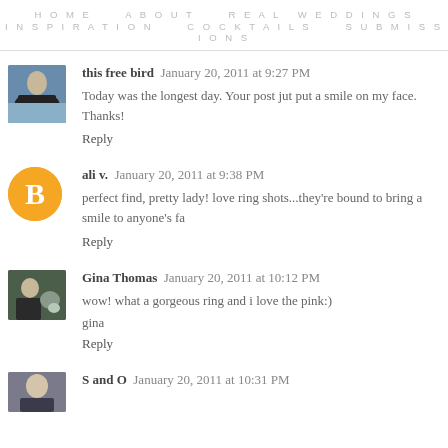HOME   ABOUT   REAL WEDDINGS   INSPIRATION   COCKTAILS   SUBMISSIONS
this free bird  January 20, 2011 at 9:27 PM
Today was the longest day. Your post jut put a smile on my face. Thanks!
Reply
ali v.  January 20, 2011 at 9:38 PM
perfect find, pretty lady! love ring shots...they're bound to bring a smile to anyone's fa
Reply
Gina Thomas  January 20, 2011 at 10:12 PM
wow! what a gorgeous ring and i love the pink:)
gina
Reply
S and O  January 20, 2011 at 10:31 PM